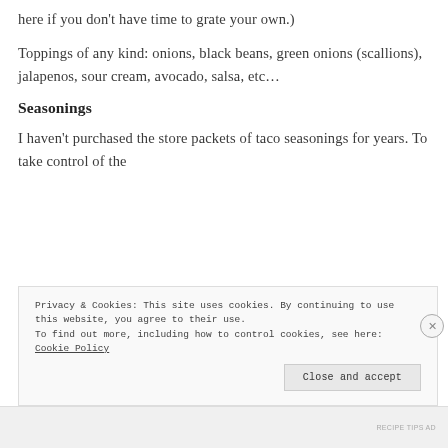here if you don't have time to grate your own.)
Toppings of any kind: onions, black beans, green onions (scallions), jalapenos, sour cream, avocado, salsa, etc…
Seasonings
I haven't purchased the store packets of taco seasonings for years. To take control of the
Privacy & Cookies: This site uses cookies. By continuing to use this website, you agree to their use.
To find out more, including how to control cookies, see here: Cookie Policy
RECIPE TIPS AD